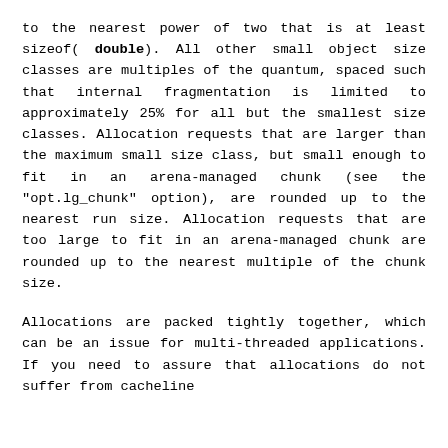to the nearest power of two that is at least sizeof(double). All other small object size classes are multiples of the quantum, spaced such that internal fragmentation is limited to approximately 25% for all but the smallest size classes. Allocation requests that are larger than the maximum small size class, but small enough to fit in an arena-managed chunk (see the "opt.lg_chunk" option), are rounded up to the nearest run size. Allocation requests that are too large to fit in an arena-managed chunk are rounded up to the nearest multiple of the chunk size.
Allocations are packed tightly together, which can be an issue for multi-threaded applications. If you need to assure that allocations do not suffer from cacheline